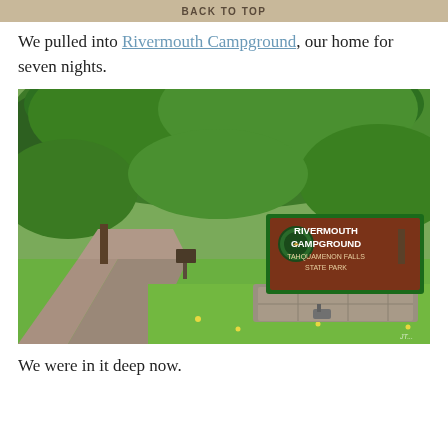BACK TO TOP
We pulled into Rivermouth Campground, our home for seven nights.
[Figure (photo): Entrance to Rivermouth Campground at Tahquamenon Falls State Park. A wooden brown sign with green border reads 'RIVERMOUTH CAMPGROUND TAHQUAMENON FALLS STATE PARK' with a state park emblem. A paved road curves to the left lined with lush green trees and grass.]
We were in it deep now.